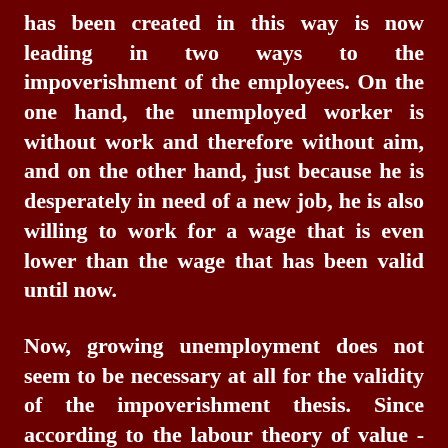has been created in this way is now leading in two ways to the impoverishment of the employees. On the one hand, the unemployed worker is without work and therefore without aim, and on the other hand, just because he is desperately in need of a new job, he is also willing to work for a wage that is even lower than the wage that has been valid until now.
Now, growing unemployment does not seem to be necessary at all for the validity of the impoverishment thesis. Since according to the labour theory of value - applied to the